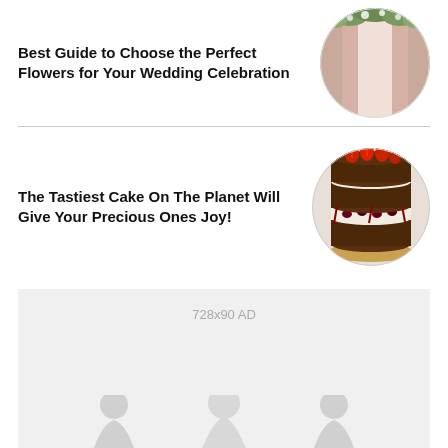Best Guide to Choose the Perfect Flowers for Your Wedding Celebration
[Figure (photo): Circular photo of a wedding floral and curtain backdrop decoration]
The Tastiest Cake On The Planet Will Give Your Precious Ones Joy!
[Figure (photo): Circular photo of a layered chocolate cake topped with fresh strawberries and berry sauce]
[Figure (infographic): Advertisement placeholder block labeled 728x90 AD with decorative silhouette figures at the bottom]